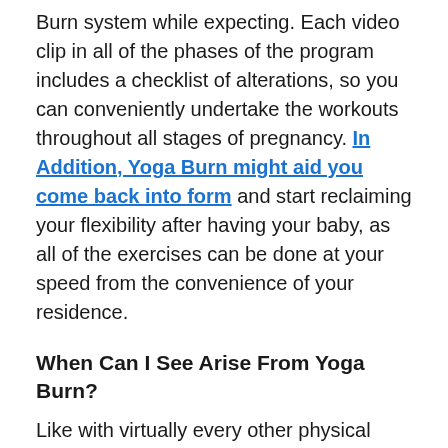Burn system while expecting. Each video clip in all of the phases of the program includes a checklist of alterations, so you can conveniently undertake the workouts throughout all stages of pregnancy. In Addition, Yoga Burn might aid you come back into form and start reclaiming your flexibility after having your baby, as all of the exercises can be done at your speed from the convenience of your residence.
When Can I See Arise From Yoga Burn?
Like with virtually every other physical fitness program, the outcomes you receive will vary based upon the private and also various other variables, such as diet plan, genetics, and also any other